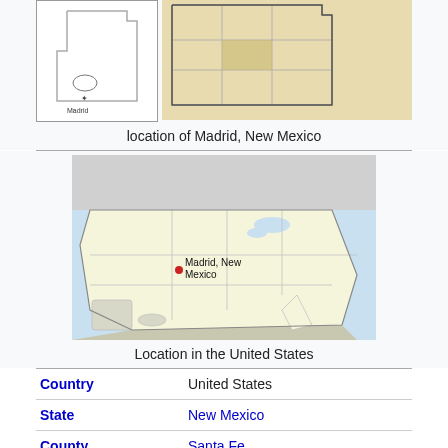[Figure (map): Two-panel map showing location of Madrid in New Mexico state (left: state outline with location marked; right: New Mexico county map with location highlighted)]
location of Madrid, New Mexico
[Figure (map): Map of the United States with Madrid, New Mexico marked with a red dot]
Location in the United States
| Country | United States |
| State | New Mexico |
| County | Santa Fe |
| Area |  |